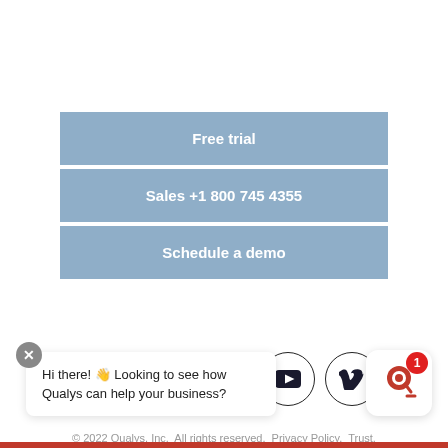Free trial
Sales +1 800 745 4355
Schedule a demo
[Figure (infographic): Row of five social media icon circles: Twitter, LinkedIn, Facebook, YouTube, Vimeo]
© 2022 Qualys, Inc.  All rights reserved.  Privacy Policy.  Trust.  Cookie Consent.
Hi there! 👋 Looking to see how Qualys can help your business?